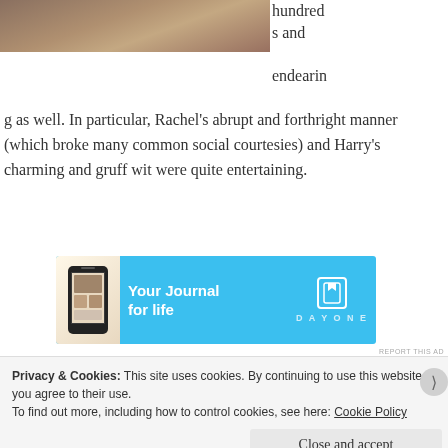[Figure (photo): Partial photo of a wooden table surface, cropped at top of page]
hundreds and endearing as well. In particular, Rachel's abrupt and forthright manner (which broke many common social courtesies) and Harry's charming and gruff wit were quite entertaining.
[Figure (infographic): Blue advertisement banner for DayOne journal app with text 'Your Journal for life' and a phone image]
REPORT THIS AD
I find a story to be compelling when it not only urges
Privacy & Cookies: This site uses cookies. By continuing to use this website, you agree to their use.
To find out more, including how to control cookies, see here: Cookie Policy
Close and accept